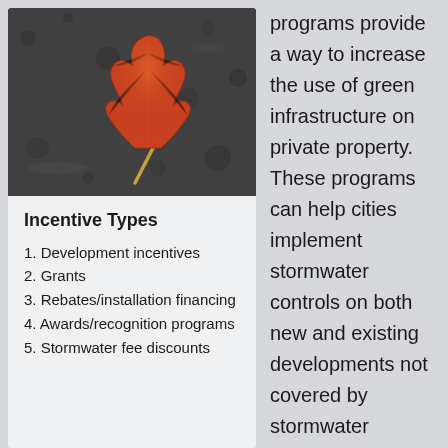[Figure (photo): An autumn maple leaf on wet dark pavement, orange and red coloring]
Incentive Types
1. Development incentives
2. Grants
3. Rebates/installation financing
4. Awards/recognition programs
5. Stormwater fee discounts
programs provide a way to increase the use of green infrastructure on private property. These programs can help cities implement stormwater controls on both new and existing developments not covered by stormwater requirements.